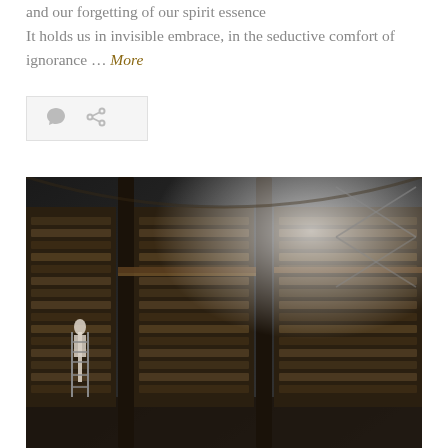and our forgetting of our spirit essence
It holds us in invisible embrace, in the seductive comfort of ignorance … More
[Figure (other): Icon bar with comment bubble and share/link icons on light gray background]
[Figure (photo): Black and white photograph of a grand multi-story library interior with tall bookshelves, ornate columns, balcony walkways, and a person on a ladder retrieving books]